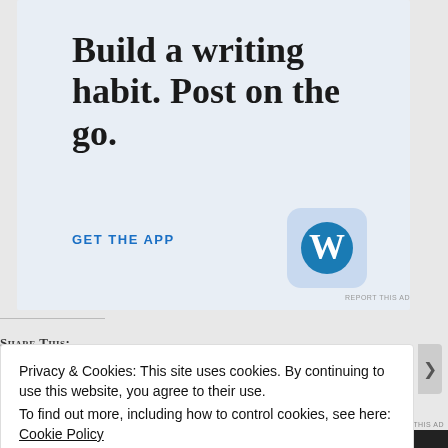[Figure (screenshot): WordPress app advertisement with light blue background. Shows large serif text 'Build a writing habit. Post on the go.' with a blue 'GET THE APP' call-to-action link and WordPress 'W' logo icon in a rounded blue square.]
REPORT THIS AD
Share This:
[Figure (screenshot): Row of social sharing icon circles (blue, light blue, gray, dark blue, red)]
Privacy & Cookies: This site uses cookies. By continuing to use this website, you agree to their use.
To find out more, including how to control cookies, see here: Cookie Policy